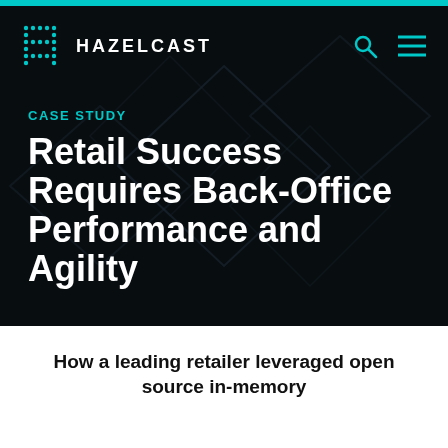[Figure (logo): Hazelcast logo with teal dot-grid icon and white HAZELCAST wordmark on dark background, with teal search and hamburger menu icons]
CASE STUDY
Retail Success Requires Back-Office Performance and Agility
How a leading retailer leveraged open source in-memory